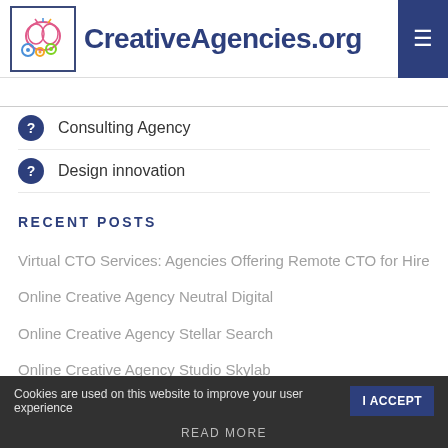CreativeAgencies.org
Consulting Agency
Design innovation
RECENT POSTS
Virtual CTO Services: Agencies Offering Remote CTO for Hire
Online Creative Agency Neutral Digital
Online Creative Agency Stellar Search
Online Creative Agency Studio Skylab
Cookies are used on this website to improve your user experience  I ACCEPT  READ MORE